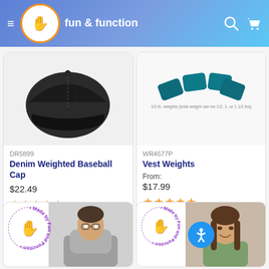fun & function
[Figure (screenshot): Product card: Denim Weighted Baseball Cap, SKU DR5899, $22.49, 4.5 stars]
[Figure (screenshot): Product card: Vest Weights, SKU WR4577P, From: $17.99, 4.5 stars]
[Figure (photo): Partial product card with Made by Fun and Function badge, person wearing gray hoodie]
[Figure (photo): Partial product card with Made by Fun and Function badge, girl smiling, accessibility button overlay]